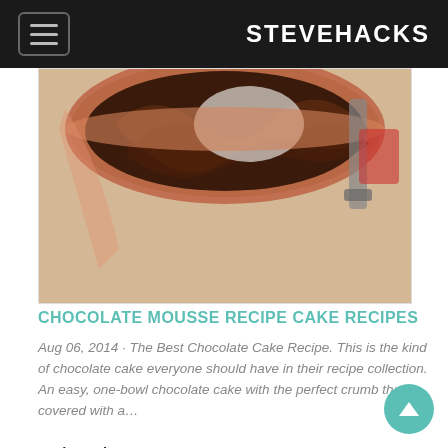STEVEHACKS
[Figure (photo): A copper bowl with chocolate mousse batter being mixed, with a mixer visible in the background on a wooden surface.]
CHOCOLATE MOUSSE RECIPE CAKE RECIPES
Aug 06, 2014 · The Best Chocolate Cake Recipe. This is the kind of chocolate cake everyone should have in their recipe collection. An easy, one-bowl chocolate cake with the perfect crumb that's covered with a…
Author: Alton Brown
[Figure (illustration): A cartoon/illustrated dark plate with colorful vegetables and greens arranged on it, partially visible at the bottom of the page.]